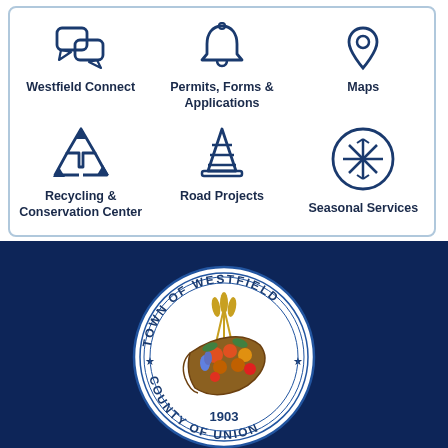[Figure (screenshot): Navigation grid showing 6 service icons: Westfield Connect, Permits Forms & Applications, Maps, Recycling & Conservation Center, Road Projects, Seasonal Services]
[Figure (logo): Town of Westfield, County of Union, 1903 - official town seal on dark navy background]